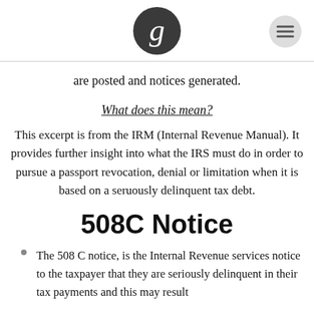[Guardian logo and menu icon]
are posted and notices generated.
What does this mean?
This excerpt is from the IRM (Internal Revenue Manual). It provides further insight into what the IRS must do in order to pursue a passport revocation, denial or limitation when it is based on a seruously delinquent tax debt.
508C Notice
The 508 C notice, is the Internal Revenue services notice to the taxpayer that they are seriously delinquent in their tax payments and this may result